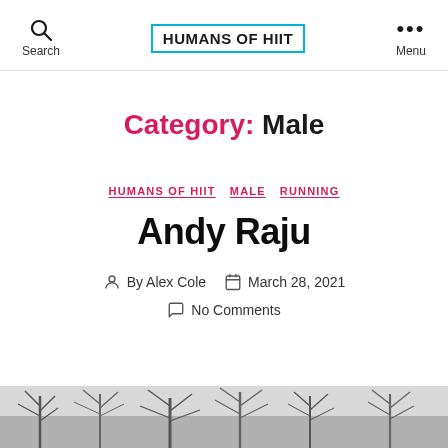Search | HUMANS OF HIIT | Menu
Category: Male
HUMANS OF HIIT  MALE  RUNNING
Andy Raju
By Alex Cole   March 28, 2021
No Comments
[Figure (photo): Outdoor winter photo showing bare trees with snow-covered branches in black and white / muted gray tones]